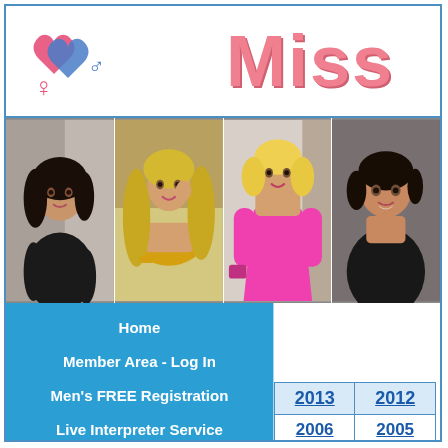[Figure (logo): Two interlocking hearts with male and female gender symbols, pink and blue colors]
Miss
[Figure (photo): Photo strip of four women: woman in black top with dark hair, woman in gold bikini top with long blonde hair, woman in pink dress with blonde hair, woman in black top with dark short hair]
Home
Member Area - Log In
Men's FREE Registration
Live Interpreter Service
| 2013 | 2012 |
| --- | --- |
| 2006 | 2005 |